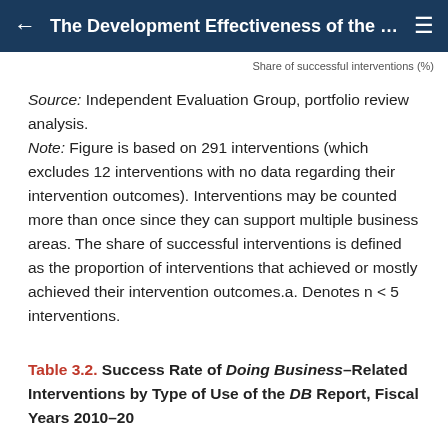The Development Effectiveness of the …
Share of successful interventions (%)
Source: Independent Evaluation Group, portfolio review analysis.
Note: Figure is based on 291 interventions (which excludes 12 interventions with no data regarding their intervention outcomes). Interventions may be counted more than once since they can support multiple business areas. The share of successful interventions is defined as the proportion of interventions that achieved or mostly achieved their intervention outcomes.a. Denotes n < 5 interventions.
Table 3.2. Success Rate of Doing Business–Related Interventions by Type of Use of the DB Report, Fiscal Years 2010–20